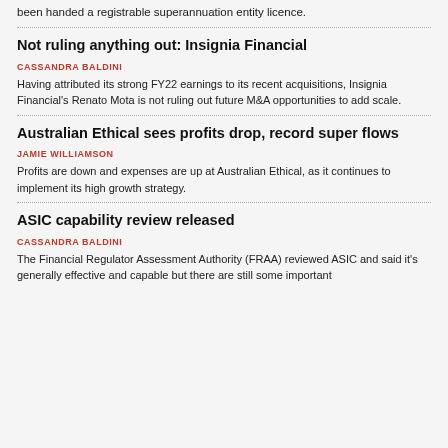been handed a registrable superannuation entity licence.
Not ruling anything out: Insignia Financial
CASSANDRA BALDINI
Having attributed its strong FY22 earnings to its recent acquisitions, Insignia Financial's Renato Mota is not ruling out future M&A opportunities to add scale.
Australian Ethical sees profits drop, record super flows
JAMIE WILLIAMSON
Profits are down and expenses are up at Australian Ethical, as it continues to implement its high growth strategy.
ASIC capability review released
CASSANDRA BALDINI
The Financial Regulator Assessment Authority (FRAA) reviewed ASIC and said it's generally effective and capable but there are still some important